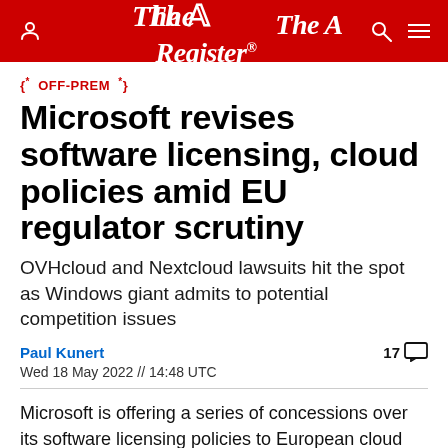The Register
{* OFF-PREM *}
Microsoft revises software licensing, cloud policies amid EU regulator scrutiny
OVHcloud and Nextcloud lawsuits hit the spot as Windows giant admits to potential competition issues
Paul Kunert
Wed 18 May 2022 // 14:48 UTC
Microsoft is offering a series of concessions over its software licensing policies to European cloud providers in a bid to address their accusations of anti-competitive